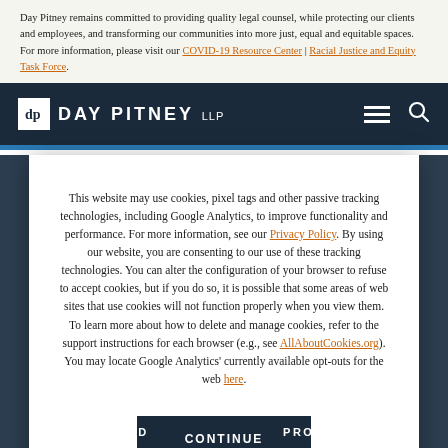Day Pitney remains committed to providing quality legal counsel, while protecting our clients and employees, and transforming our communities into more just, equal and equitable spaces. For more information, please visit our COVID-19 Resource Center | Racial Justice and Equity Task Force.
[Figure (logo): Day Pitney LLP logo with navigation bar on dark navy background]
This website may use cookies, pixel tags and other passive tracking technologies, including Google Analytics, to improve functionality and performance. For more information, see our Privacy Policy. By using our website, you are consenting to our use of these tracking technologies. You can alter the configuration of your browser to refuse to accept cookies, but if you do so, it is possible that some areas of web sites that use cookies will not function properly when you view them. To learn more about how to delete and manage cookies, refer to the support instructions for each browser (e.g., see AllAboutCookies.org). You may locate Google Analytics' currently available opt-outs for the web here.
CONTINUE
STAMFORD
PROVIDENCE